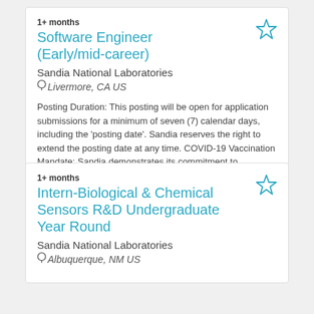1+ months
Software Engineer (Early/mid-career)
Sandia National Laboratories
Livermore, CA US
Posting Duration: This posting will be open for application submissions for a minimum of seven (7) calendar days, including the 'posting date'. Sandia reserves the right to extend the posting date at any time. COVID-19 Vaccination Mandate: Sandia demonstrates its commitment to ...
1+ months
Intern-Biological & Chemical Sensors R&D Undergraduate Year Round
Sandia National Laboratories
Albuquerque, NM US